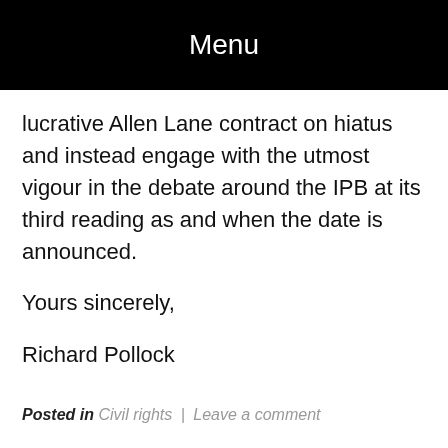Menu
lucrative Allen Lane contract on hiatus and instead engage with the utmost vigour in the debate around the IPB at its third reading as and when the date is announced.
Yours sincerely,
Richard Pollock
Posted in Civil rights | Leave a comment